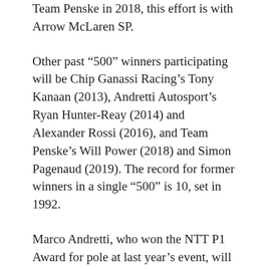Team Penske in 2018, this effort is with Arrow McLaren SP.
Other past “500” winners participating will be Chip Ganassi Racing’s Tony Kanaan (2013), Andretti Autosport’s Ryan Hunter-Reay (2014) and Alexander Rossi (2016), and Team Penske’s Will Power (2018) and Simon Pagenaud (2019). The record for former winners in a single “500” is 10, set in 1992.
Marco Andretti, who won the NTT P1 Award for pole at last year’s event, will be part of Andretti Autosport’s five participants. Andretti became the first member of his family to win the pole at Indy since his grandfather Mario in 1987. Mario won three “500” poles in his illustrious career.
Simona De Silvestro will make her return to IMS in